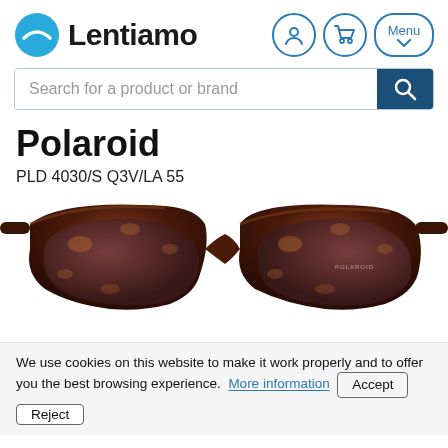Lentiamo
Search for a product or brand
Polaroid
PLD 4030/S Q3V/LA 55
[Figure (photo): Polaroid tortoiseshell sunglasses PLD 4030/S Q3V/LA 55, photographed from the front showing brown gradient lenses and dark brown tortoiseshell frame]
We use cookies on this website to make it work properly and to offer you the best browsing experience.  More information  Accept  Reject